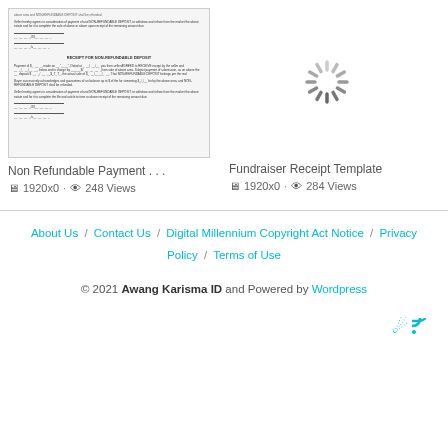[Figure (screenshot): Thumbnail preview of a Non Refundable Payment document with text lines and signature fields]
[Figure (illustration): Loading spinner graphic (gray radial lines)]
Non Refundable Payment . . .
Fundraiser Receipt Template
🖥 1920x0 · 👁 248 Views
🖥 1920x0 · 👁 284 Views
About Us / Contact Us / Digital Millennium Copyright Act Notice / Privacy Policy / Terms of Use
© 2021 Awang Karisma ID and Powered by Wordpress